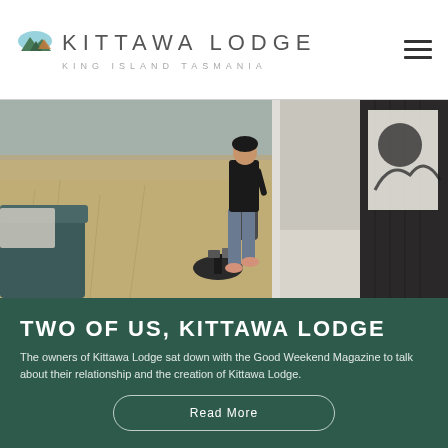KITTAWA LODGE — KING ISLAND TASMANIA
[Figure (photo): Interior of Kittawa Lodge showing a person standing at a large sliding glass door looking out over grass fields, with a couch on the left and dark wood-paneled wall on the right]
TWO OF US, KITTAWA LODGE
The owners of Kittawa Lodge sat down with the Good Weekend Magazine to talk about their relationship and the creation of Kittawa Lodge.
Read More